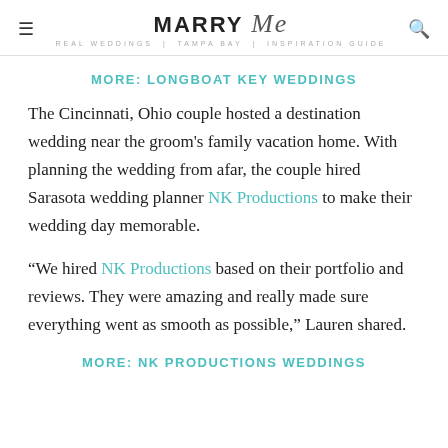MARRY Me TAMPA BAY
MORE: LONGBOAT KEY WEDDINGS
The Cincinnati, Ohio couple hosted a destination wedding near the groom's family vacation home. With planning the wedding from afar, the couple hired Sarasota wedding planner NK Productions to make their wedding day memorable.
“We hired NK Productions based on their portfolio and reviews. They were amazing and really made sure everything went as smooth as possible,” Lauren shared.
MORE: NK PRODUCTIONS WEDDINGS